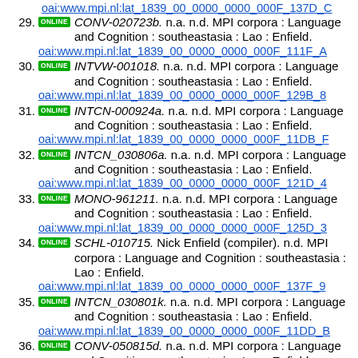oai:www.mpi.nl:lat_1839_00_0000_0000_000F_137D_C
29. [ONLINE] CONV-020723b. n.a. n.d. MPI corpora : Language and Cognition : southeastasia : Lao : Enfield. oai:www.mpi.nl:lat_1839_00_0000_0000_000F_111F_A
30. [ONLINE] INTVW-001018. n.a. n.d. MPI corpora : Language and Cognition : southeastasia : Lao : Enfield. oai:www.mpi.nl:lat_1839_00_0000_0000_000F_129B_8
31. [ONLINE] INTCN-000924a. n.a. n.d. MPI corpora : Language and Cognition : southeastasia : Lao : Enfield. oai:www.mpi.nl:lat_1839_00_0000_0000_000F_11DB_F
32. [ONLINE] INTCN_030806a. n.a. n.d. MPI corpora : Language and Cognition : southeastasia : Lao : Enfield. oai:www.mpi.nl:lat_1839_00_0000_0000_000F_121D_4
33. [ONLINE] MONO-961211. n.a. n.d. MPI corpora : Language and Cognition : southeastasia : Lao : Enfield. oai:www.mpi.nl:lat_1839_00_0000_0000_000F_125D_3
34. [ONLINE] SCHL-010715. Nick Enfield (compiler). n.d. MPI corpora : Language and Cognition : southeastasia : Lao : Enfield. oai:www.mpi.nl:lat_1839_00_0000_0000_000F_137F_9
35. [ONLINE] INTCN_030801k. n.a. n.d. MPI corpora : Language and Cognition : southeastasia : Lao : Enfield. oai:www.mpi.nl:lat_1839_00_0000_0000_000F_11DD_B
36. [ONLINE] CONV-050815d. n.a. n.d. MPI corpora : Language and Cognition : southeastasia : Lao : Enfield. oai:www.mpi.nl:lat_1839_00_0000_0000_000F_113D_B
37. [ONLINE] INTCN_030802m. n.a. n.d. MPI corpora : Language and Cognition : southeastasia : Lao : Enfield.